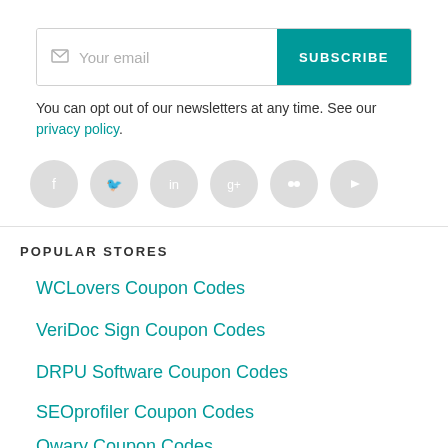[Figure (other): Email subscription bar with envelope icon, 'Your email' placeholder text, and teal 'SUBSCRIBE' button]
You can opt out of our newsletters at any time. See our privacy policy.
[Figure (other): Row of 6 social media icon circles (Facebook, Twitter, LinkedIn, Google+, Flickr, YouTube) in light grey]
POPULAR STORES
WCLovers Coupon Codes
VeriDoc Sign Coupon Codes
DRPU Software Coupon Codes
SEOprofiler Coupon Codes
Qwary Coupon Codes